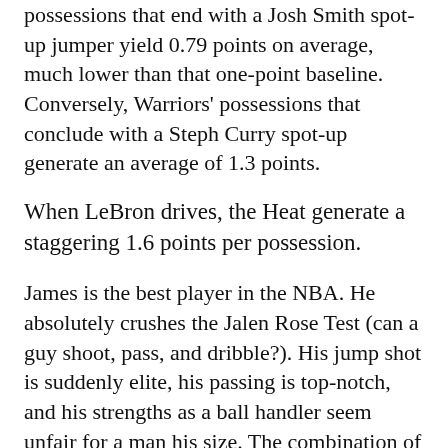possessions that end with a Josh Smith spot-up jumper yield 0.79 points on average, much lower than that one-point baseline. Conversely, Warriors' possessions that conclude with a Steph Curry spot-up generate an average of 1.3 points.
When LeBron drives, the Heat generate a staggering 1.6 points per possession.
James is the best player in the NBA. He absolutely crushes the Jalen Rose Test (can a guy shoot, pass, and dribble?). His jump shot is suddenly elite, his passing is top-notch, and his strengths as a ball handler seem unfair for a man his size. The combination of his size, athleticism, and skill manifests in a freakish ability to score the basketball close to the basket. Nobody is better. During the regular season, James not only led the NBA in points near the basket, he also performed…